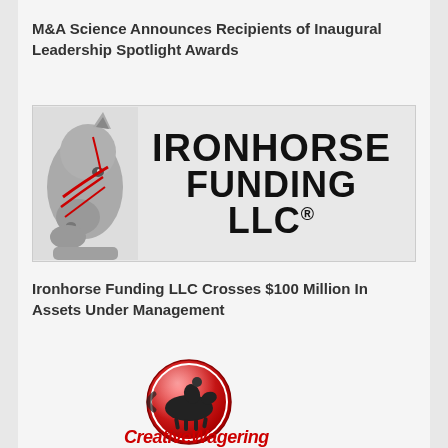M&A Science Announces Recipients of Inaugural Leadership Spotlight Awards
[Figure (logo): Ironhorse Funding LLC logo — grey armored horse head on the left, bold serif text 'IRONHORSE FUNDING LLC®' on the right, on a light grey background]
Ironhorse Funding LLC Crosses $100 Million In Assets Under Management
[Figure (logo): Creative Wagering logo — circular red glossy badge with a dark silhouette of a horse and jockey, with 'CreativeWagering' text below in red italic font, partially visible]